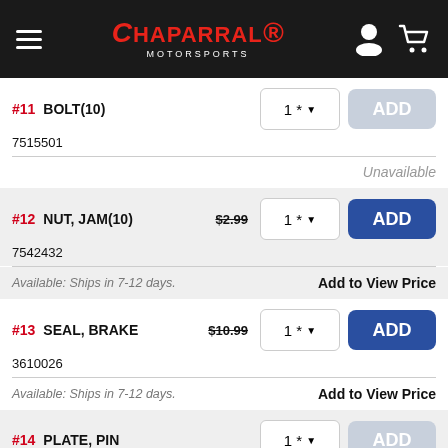Chaparral Motorsports
#11 BOLT(10) 7515501
Unavailable
#12 NUT, JAM(10) $2.99 7542432
Available: Ships in 7-12 days. Add to View Price
#13 SEAL, BRAKE $10.99 3610026
Available: Ships in 7-12 days. Add to View Price
#14 PLATE, PIN